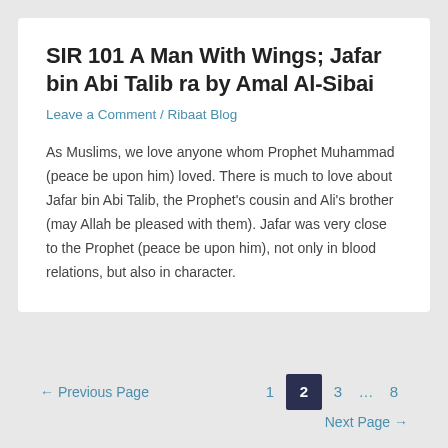SIR 101 A Man With Wings; Jafar bin Abi Talib ra by Amal Al-Sibai
Leave a Comment / Ribaat Blog
As Muslims, we love anyone whom Prophet Muhammad (peace be upon him) loved. There is much to love about Jafar bin Abi Talib, the Prophet's cousin and Ali's brother (may Allah be pleased with them). Jafar was very close to the Prophet (peace be upon him), not only in blood relations, but also in character.
← Previous Page   1   2   3   ...   8   Next Page →